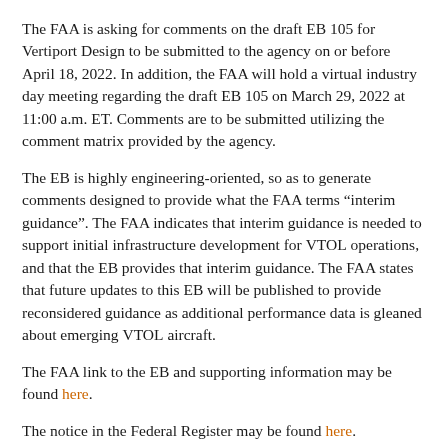The FAA is asking for comments on the draft EB 105 for Vertiport Design to be submitted to the agency on or before April 18, 2022. In addition, the FAA will hold a virtual industry day meeting regarding the draft EB 105 on March 29, 2022 at 11:00 a.m. ET. Comments are to be submitted utilizing the comment matrix provided by the agency.
The EB is highly engineering-oriented, so as to generate comments designed to provide what the FAA terms “interim guidance”. The FAA indicates that interim guidance is needed to support initial infrastructure development for VTOL operations, and that the EB provides that interim guidance. The FAA states that future updates to this EB will be published to provide reconsidered guidance as additional performance data is gleaned about emerging VTOL aircraft.
The FAA link to the EB and supporting information may be found here.
The notice in the Federal Register may be found here.
For more information contact Robert E. Kelly, Esq. at kellylawuas@gmail.com.